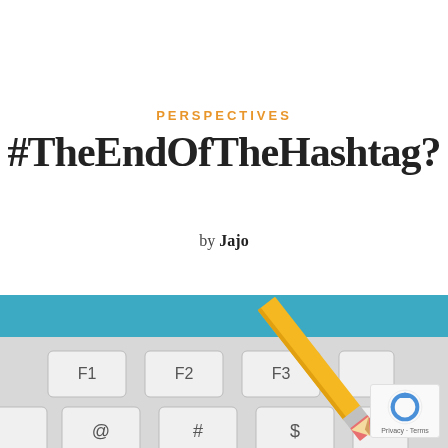PERSPECTIVES
#TheEndOfTheHashtag?
by Jajo
[Figure (illustration): Illustration of a keyboard with function keys F1, F2, F3 visible and special characters including # (hashtag) symbol, @ symbol, $ and % on keys. A large yellow pencil with a pink eraser is erasing the hashtag key, suggesting the end of the hashtag. The keyboard has a teal/cyan top bar.]